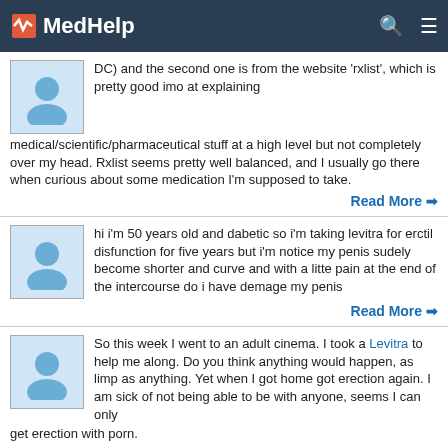MedHelp
DC) and the second one is from the website 'rxlist', which is pretty good imo at explaining medical/scientific/pharmaceutical stuff at a high level but not completely over my head. Rxlist seems pretty well balanced, and I usually go there when curious about some medication I'm supposed to take.
Read More
hi i'm 50 years old and dabetic so i'm taking levitra for erctil disfunction for five years but i'm notice my penis sudely become shorter and curve and with a litte pain at the end of the intercourse do i have demage my penis
Read More
So this week I went to an adult cinema. I took a Levitra to help me along. Do you think anything would happen, as limp as anything. Yet when I got home got erection again. I am sick of not being able to be with anyone, seems I can only get erection with porn.
Read More